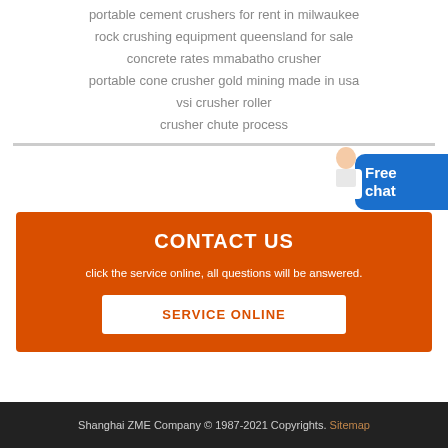portable cement crushers for rent in milwaukee
rock crushing equipment queensland for sale
concrete rates mmabatho crusher
portable cone crusher gold mining made in usa
vsi crusher roller
crusher chute process
[Figure (illustration): Customer service representative figure with Free chat button]
CONTACT US
click the service online, all questions will be answered.
SERVICE ONLINE
Shanghai ZME Company © 1987-2021 Copyrights. Sitemap